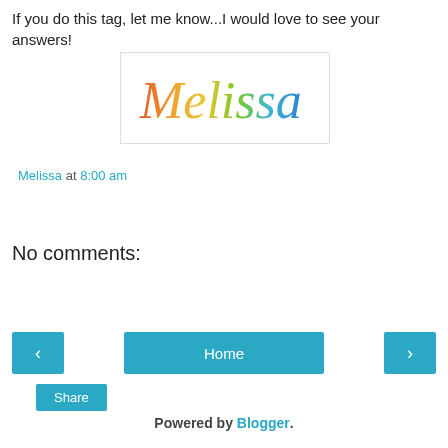If you do this tag, let me know...I would love to see your answers!
[Figure (illustration): Colorful cursive text logo reading 'Melissa' in rainbow gradient colors (red, orange, yellow, green, blue) on a white background with a light gray border.]
Melissa at 8:00 am
Share
No comments:
Post a Comment
‹  Home  ›
View web version
Powered by Blogger.